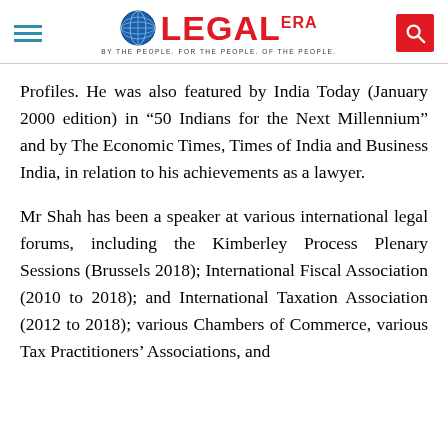Legal Era — BY THE PEOPLE. FOR THE PEOPLE. OF THE PEOPLE.
Profiles. He was also featured by India Today (January 2000 edition) in “50 Indians for the Next Millennium” and by The Economic Times, Times of India and Business India, in relation to his achievements as a lawyer.
Mr Shah has been a speaker at various international legal forums, including the Kimberley Process Plenary Sessions (Brussels 2018); International Fiscal Association (2010 to 2018); and International Taxation Association (2012 to 2018); various Chambers of Commerce, various Tax Practitioners’ Associations, and